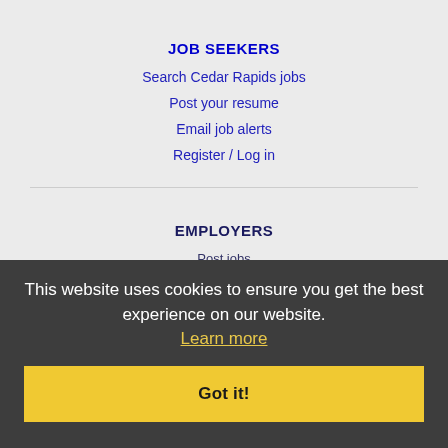JOB SEEKERS
Search Cedar Rapids jobs
Post your resume
Email job alerts
Register / Log in
EMPLOYERS
Post jobs
Search resumes
Email resume alerts
Advertise
IMMIGRATION SPECIALISTS
Post jobs
This website uses cookies to ensure you get the best experience on our website. Learn more
Got it!